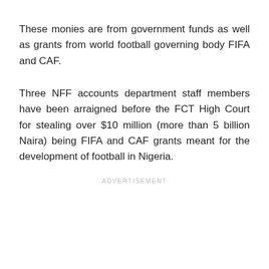These monies are from government funds as well as grants from world football governing body FIFA and CAF.
Three NFF accounts department staff members have been arraigned before the FCT High Court for stealing over $10 million (more than 5 billion Naira) being FIFA and CAF grants meant for the development of football in Nigeria.
ADVERTISEMENT